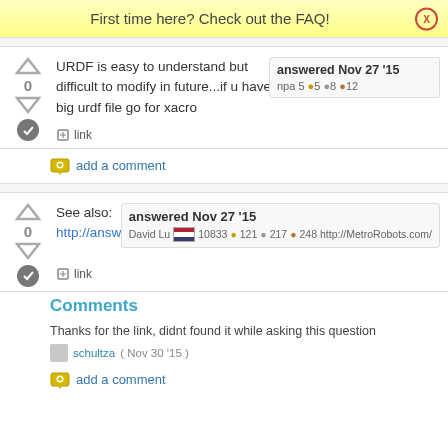First time here? Check out the FAQ!
URDF is easy to understand but difficult to modify in future...if u have a big urdf file go for xacro
answered Nov 27 '15
npa 5 •5 •8 •12
link
add a comment
See also:
http://answers.ros.org/question/9043/...
answered Nov 27 '15
David Lu 10833 •121 •217 •248 http://MetroRobots.com/
link
Comments
Thanks for the link, didnt found it while asking this question
schultza ( Nov 30 '15 )
add a comment